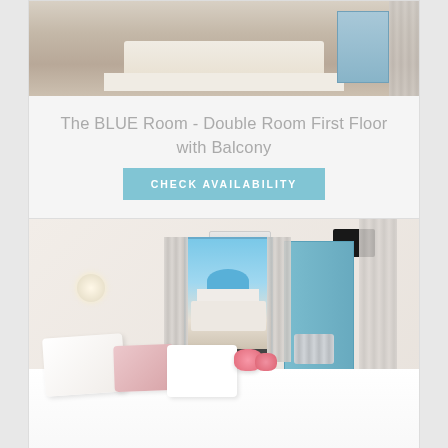[Figure (photo): Hotel room photo showing bed with light colored linens and wooden floor, top portion visible]
The BLUE Room - Double Room First Floor with Balcony
CHECK AVAILABILITY
[Figure (photo): Greek hotel room with blue accents - blue wardrobe, blue window frames, view of blue-domed church through balcony door, bed with white and pink pillows, AC unit and TV mounted on wall]